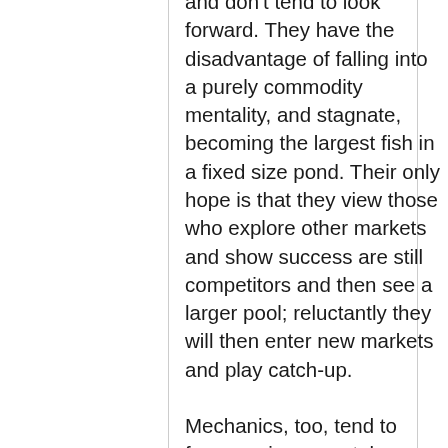and don't tend to look forward. They have the disadvantage of falling into a purely commodity mentality, and stagnate, becoming the largest fish in a fixed size pond. Their only hope is that they view those who explore other markets and show success are still competitors and then see a larger pool; reluctantly they will then enter new markets and play catch-up.
Mechanics, too, tend to focus on incremental improvements and eschew